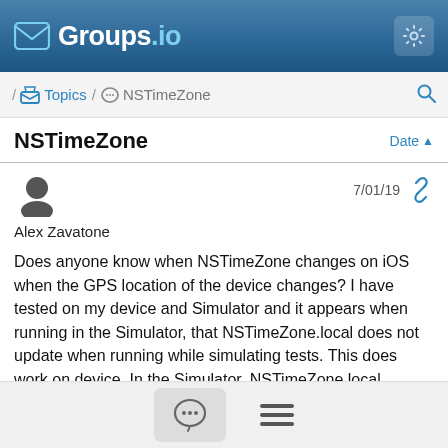Groups.io
/ Topics / NSTimeZone
NSTimeZone
Alex Zavatone  7/01/19
Does anyone know when NSTimeZone changes on iOS when the GPS location of the device changes?  I have tested on my device and Simulator and it appears when running in the Simulator, that NSTimeZone.local does not update when running while simulating tests.  This does work on device.  In the Simulator, NSTimeZone.local ignores the change and returns the non adjusted time zone.  Calling a reset on it does not update the time zone to what it should be.